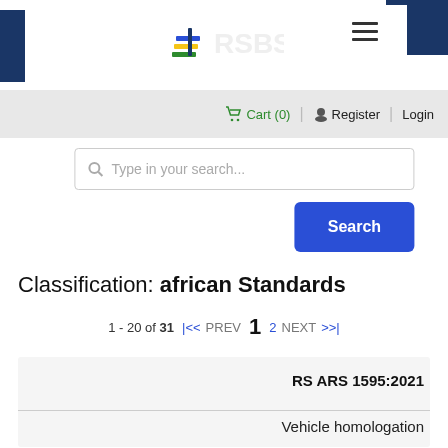[Figure (logo): RSBS logo with colorful book icon and menu icon on dark blue header background]
Cart (0)   Register   Login
[Figure (screenshot): Search input box with placeholder 'Type in your search...' and blue Search button]
Classification: african Standards
1 - 20 of 31  |<<  PREV  1  2  NEXT  >>|
RS ARS 1595:2021
Vehicle homologation